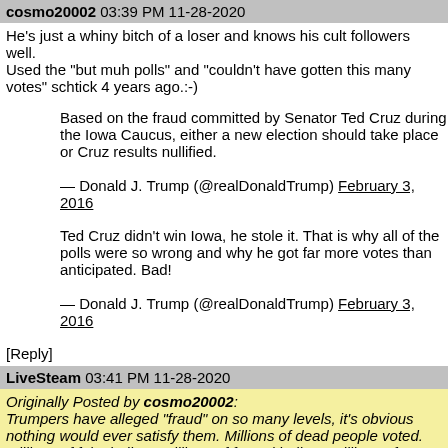cosmo20002 03:39 PM 11-28-2020
He's just a whiny bitch of a loser and knows his cult followers well.
Used the "but muh polls" and "couldn't have gotten this many votes" schtick 4 years ago.:-)
Based on the fraud committed by Senator Ted Cruz during the Iowa Caucus, either a new election should take place or Cruz results nullified.

— Donald J. Trump (@realDonaldTrump) February 3, 2016
Ted Cruz didn't win Iowa, he stole it. That is why all of the polls were so wrong and why he got far more votes than anticipated. Bad!

— Donald J. Trump (@realDonaldTrump) February 3, 2016
[Reply]
LiveSteam 03:41 PM 11-28-2020
Originally Posted by cosmo20002:
Trumpers have alleged "fraud" on so many levels, it's obvious nothing would ever satisfy them. Millions of dead people voted. Millions of fake ballots. Millions of forged ballots. Millions of Trump ballots thrown away. Software was rigged. It will always be something.